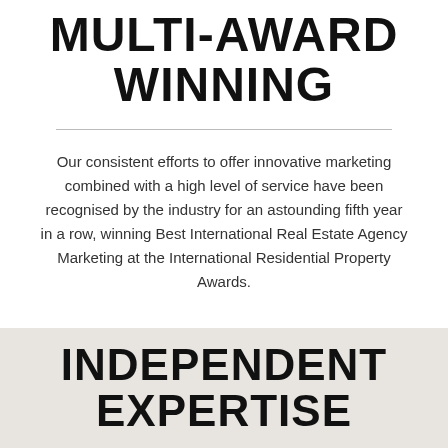MULTI-AWARD WINNING
Our consistent efforts to offer innovative marketing combined with a high level of service have been recognised by the industry for an astounding fifth year in a row, winning Best International Real Estate Agency Marketing at the International Residential Property Awards.
INDEPENDENT EXPERTISE